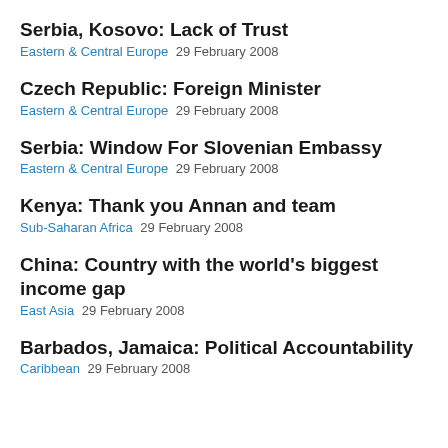Serbia, Kosovo: Lack of Trust
Eastern & Central Europe  29 February 2008
Czech Republic: Foreign Minister
Eastern & Central Europe  29 February 2008
Serbia: Window For Slovenian Embassy
Eastern & Central Europe  29 February 2008
Kenya: Thank you Annan and team
Sub-Saharan Africa  29 February 2008
China: Country with the world's biggest income gap
East Asia  29 February 2008
Barbados, Jamaica: Political Accountability
Caribbean  29 February 2008